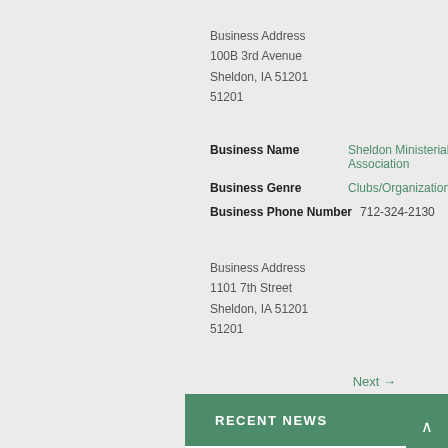Business Address
100B 3rd Avenue
Sheldon, IA 51201
51201
Business Name  Sheldon Ministerial Association
Business Genre  Clubs/Organizations
Business Phone Number  712-324-2130
Business Address
1101 7th Street
Sheldon, IA 51201
51201
Next →
RECENT NEWS